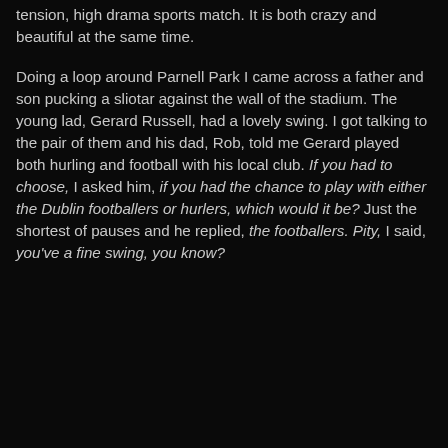tension, high drama sports match. It is both crazy and beautiful at the same time.
Doing a loop around Parnell Park I came across a father and son pucking a sliotar against the wall of the stadium. The young lad, Gerard Russell, had a lovely swing. I got talking to the pair of them and his dad, Rob, told me Gerard played both hurling and football with his local club. If you had to choose, I asked him, if you had the chance to play with either the Dublin footballers or hurlers, which would it be? Just the shortest of pauses and he replied, the footballers. Pity, I said, you've a fine swing, you know?